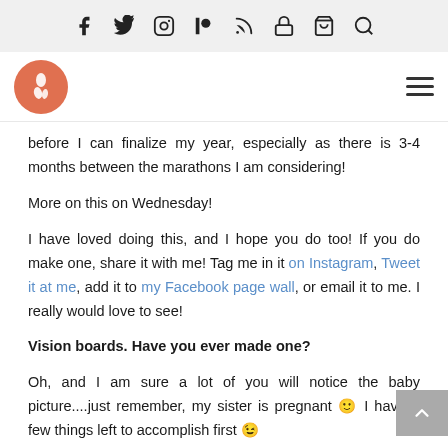Social nav icons: Facebook, Twitter, Instagram, Patreon, RSS, Lock, Cart, Search
[Figure (logo): Orange circular logo with a foot/walking figure icon]
before I can finalize my year, especially as there is 3-4 months between the marathons I am considering!
More on this on Wednesday!
I have loved doing this, and I hope you do too! If you do make one, share it with me! Tag me in it on Instagram, Tweet it at me, add it to my Facebook page wall, or email it to me. I really would love to see!
Vision boards. Have you ever made one?
Oh, and I am sure a lot of you will notice the baby picture....just remember, my sister is pregnant 🙂 I have a few things left to accomplish first 😉